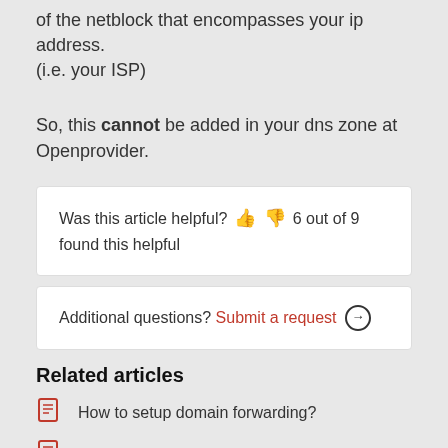of the netblock that encompasses your ip address. (i.e. your ISP)
So, this cannot be added in your dns zone at Openprovider.
Was this article helpful? 👍 👎 6 out of 9 found this helpful
Additional questions? Submit a request →
Related articles
How to setup domain forwarding?
How to change nameservers of a domain
Contact Openprovider Support